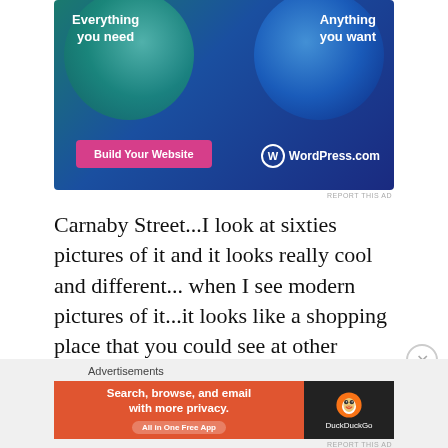[Figure (screenshot): WordPress.com advertisement banner with teal and blue gradient background, two overlapping circles, text 'Everything you need' and 'Anything you want', a pink 'Build Your Website' button, and WordPress.com logo]
REPORT THIS AD
Carnaby Street...I look at sixties pictures of it and it looks really cool and different... when I see modern pictures of it...it looks like a shopping place that you could see at other places.
Advertisements
[Figure (screenshot): DuckDuckGo advertisement: orange background on left with text 'Search, browse, and email with more privacy. All in One Free App', dark background on right with DuckDuckGo duck logo and 'DuckDuckGo' text]
REPORT THIS AD